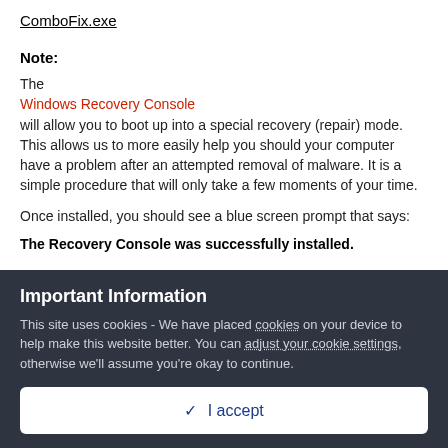ComboFix.exe
Note:
The Windows Recovery Console will allow you to boot up into a special recovery (repair) mode. This allows us to more easily help you should your computer have a problem after an attempted removal of malware. It is a simple procedure that will only take a few moments of your time.
Once installed, you should see a blue screen prompt that says:
The Recovery Console was successfully installed.
Important Information
This site uses cookies - We have placed cookies on your device to help make this website better. You can adjust your cookie settings, otherwise we'll assume you're okay to continue.
I accept